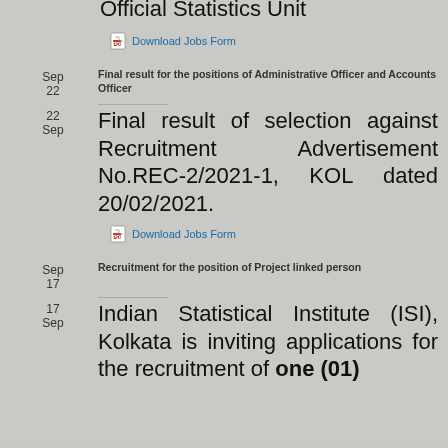Contact person Sampling and Official Statistics Unit
Download Jobs Form
Sep 22 — Final result for the positions of Administrative Officer and Accounts Officer
Final result of selection against Recruitment Advertisement No.REC-2/2021-1, KOL dated 20/02/2021.
Download Jobs Form
Sep 17 — Recruitment for the position of Project linked person
Indian Statistical Institute (ISI), Kolkata is inviting applications for the recruitment of one (01)